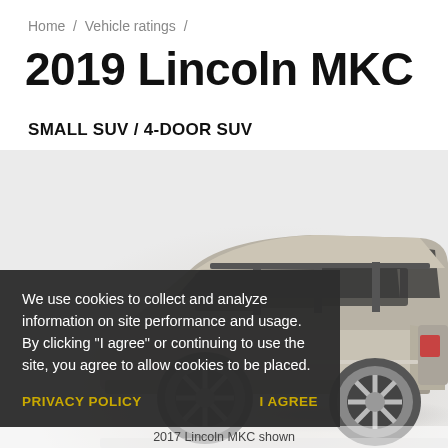Home / Vehicle ratings /
2019 Lincoln MKC
SMALL SUV / 4-DOOR SUV
[Figure (photo): Side/rear view of a 2019 Lincoln MKC small SUV in champagne/beige color on a white studio background with a dark circular platform. The vehicle shows the rear three-quarter profile with alloy wheels.]
We use cookies to collect and analyze information on site performance and usage. By clicking "I agree" or continuing to use the site, you agree to allow cookies to be placed.
PRIVACY POLICY    I AGREE
2017 Lincoln MKC shown